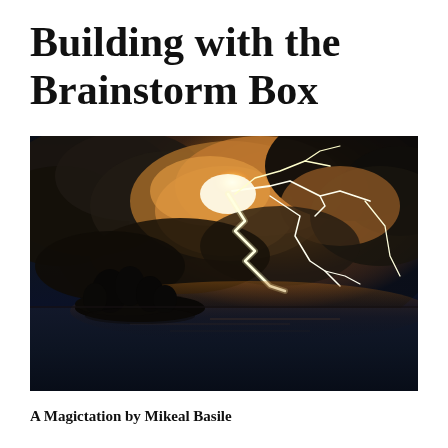Building with the Brainstorm Box
[Figure (photo): A dramatic thunderstorm photograph featuring lightning bolts illuminating orange-glowing storm clouds over a dark ocean, with a small silhouetted rocky island in the lower left and reflections on the calm water below.]
A Magictation by Mikeal Basile